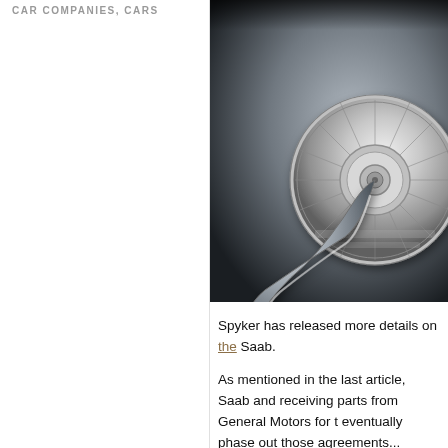CAR COMPANIES, CARS
[Figure (photo): Close-up photograph of a chrome Spyker car emblem/badge showing a detailed wheel motif with an airplane propeller overlay, on a grey background]
Spyker has released more details on the [linked] Saab.
As mentioned in the last article, Saab and receiving parts from General Motors for t eventually phase out those agreements...